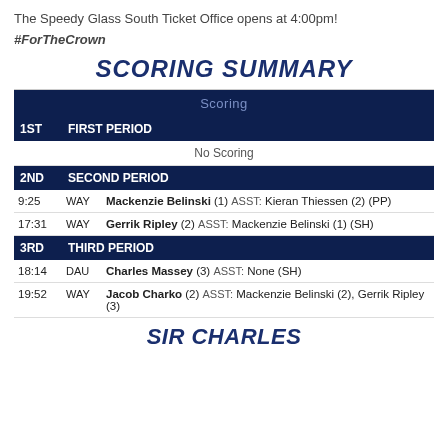The Speedy Glass South Ticket Office opens at 4:00pm!
#ForTheCrown
SCORING SUMMARY
|  |  | Scoring |
| --- | --- | --- |
| 1ST | FIRST PERIOD |  |
|  |  | No Scoring |
| 2ND | SECOND PERIOD |  |
| 9:25 | WAY | Mackenzie Belinski (1) ASST: Kieran Thiessen (2) (PP) |
| 17:31 | WAY | Gerrik Ripley (2) ASST: Mackenzie Belinski (1) (SH) |
| 3RD | THIRD PERIOD |  |
| 18:14 | DAU | Charles Massey (3) ASST: None (SH) |
| 19:52 | WAY | Jacob Charko (2) ASST: Mackenzie Belinski (2), Gerrik Ripley (3) |
SIR CHARLES